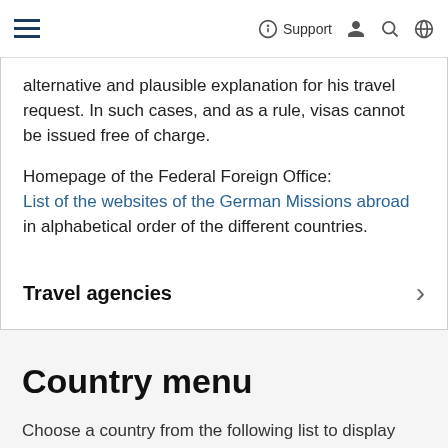Support
alternative and plausible explanation for his travel request. In such cases, and as a rule, visas cannot be issued free of charge.

Homepage of the Federal Foreign Office:
List of the websites of the German Missions abroad
in alphabetical order of the different countries.
Travel agencies
Country menu
Choose a country from the following list to display more information about that country.